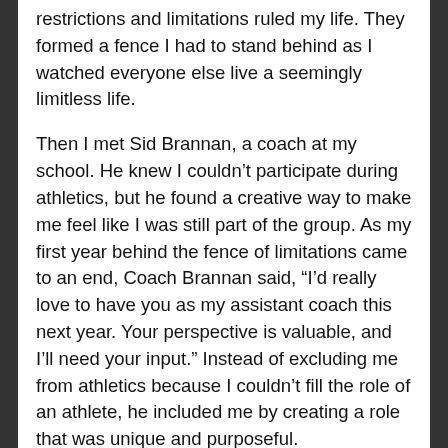restrictions and limitations ruled my life. They formed a fence I had to stand behind as I watched everyone else live a seemingly limitless life.
Then I met Sid Brannan, a coach at my school. He knew I couldn't participate during athletics, but he found a creative way to make me feel like I was still part of the group. As my first year behind the fence of limitations came to an end, Coach Brannan said, “I’d really love to have you as my assistant coach this next year. Your perspective is valuable, and I’ll need your input.” Instead of excluding me from athletics because I couldn’t fill the role of an athlete, he included me by creating a role that was unique and purposeful.
As I’ve thought about how Coach Brannan kept me from feeling excluded, I’ve come up with a little advice for including someone with a